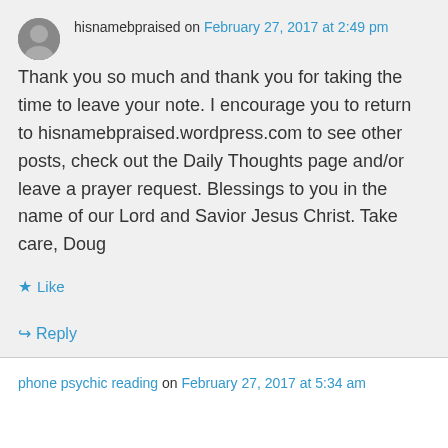hisnamebpraised on February 27, 2017 at 2:49 pm
Thank you so much and thank you for taking the time to leave your note. I encourage you to return to hisnamebpraised.wordpress.com to see other posts, check out the Daily Thoughts page and/or leave a prayer request. Blessings to you in the name of our Lord and Savior Jesus Christ. Take care, Doug
Like
Reply
phone psychic reading on February 27, 2017 at 5:34 am